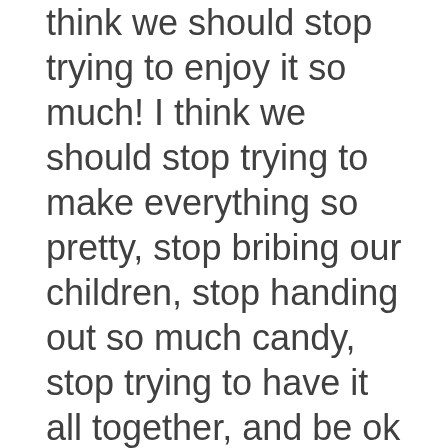think we should stop trying to enjoy it so much!  I think we should stop trying to make everything so pretty, stop bribing our children, stop handing out so much candy, stop trying to have it all together, and be ok with our kids crying and embarrassing the shit out of us!
Hey, I do not like to discipline. I would much rather make her bed than take longer to teach her how. I think our kids need to learn how to